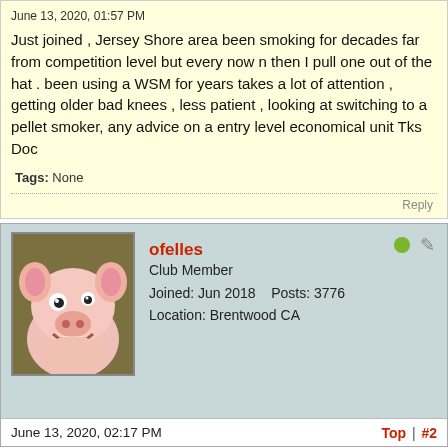June 13, 2020, 01:57 PM
Just joined , Jersey Shore area been smoking for decades far from competition level but every now n then I pull one out of the hat . been using a WSM for years takes a lot of attention , getting older bad knees , less patient , looking at switching to a pellet smoker, any advice on a entry level economical unit Tks Doc
Tags: None
[Figure (illustration): Cartoon pig avatar image — animated smiling pig character on olive/dark background]
ofelles
Club Member
Joined: Jun 2018    Posts: 3776
Location: Brentwood CA
June 13, 2020, 02:17 PM
Top | #2